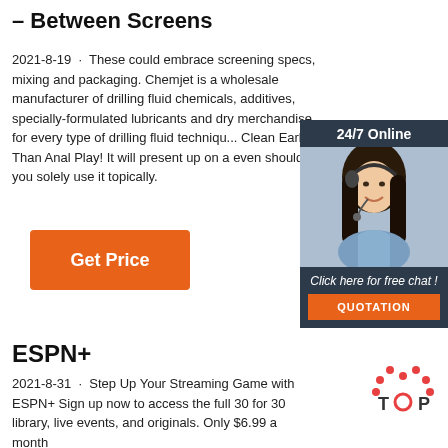– Between Screens
2021-8-19 · These could embrace screening specs, mixing and packaging. Chemjet is a wholesale manufacturer of drilling fluid chemicals, additives, specially-formulated lubricants and dry merchandise for every type of drilling fluid technique. Clean Earlier Than Anal Play! It will present up on a even should you solely use it topically.
[Figure (other): Orange 'Get Price' button]
[Figure (other): 24/7 Online chat advertisement panel with woman wearing headset, 'Click here for free chat!' text and orange QUOTATION button]
ESPN+
2021-8-31 · Step Up Your Streaming Game with ESPN+ Sign up now to access the full 30 for 30 library, live events, and originals. Only $6.99 a month
[Figure (logo): TOP logo with dotted arch design in orange/red]